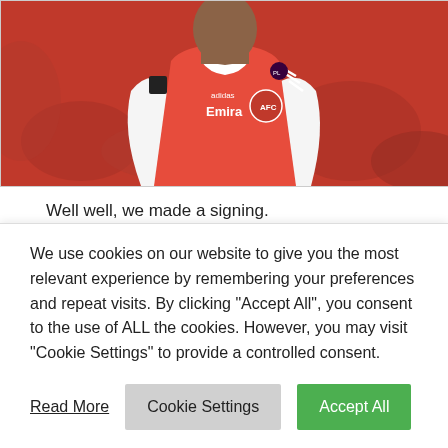[Figure (photo): Arsenal footballer wearing red Adidas Emirates kit with Premier League badge, photographed from chest up against blurred crowd background]
Well well, we made a signing.
The first deal of the summer has gone down, and it's Marquinhos from Sau Paulo, announced yesterday by the club. The 19 year old will cost a little over £3m, and will
We use cookies on our website to give you the most relevant experience by remembering your preferences and repeat visits. By clicking "Accept All", you consent to the use of ALL the cookies. However, you may visit "Cookie Settings" to provide a controlled consent.